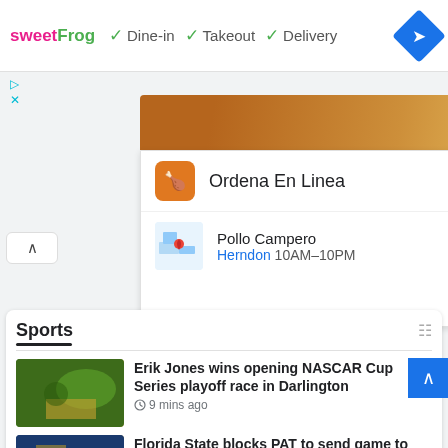[Figure (screenshot): Advertisement banner for sweetFrog showing Dine-in, Takeout, Delivery options with checkmarks and navigation diamond icon]
[Figure (screenshot): Restaurant card showing food photo, Ordena En Linea option, and Pollo Campero Herndon 10AM-10PM with navigation button]
Sports
Erik Jones wins opening NASCAR Cup Series playoff race in Darlington
9 mins ago
Florida State blocks PAT to send game to overtime, holds off LSU in